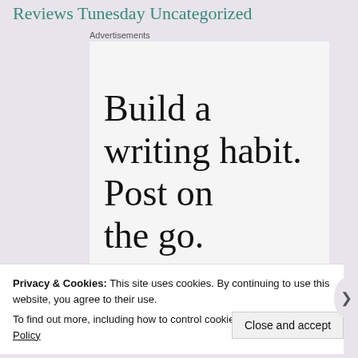Reviews Tunesday Uncategorized
Advertisements
[Figure (screenshot): WordPress advertisement banner reading 'Build a writing habit. Post on the go.' in large serif text on a light gray background.]
Privacy & Cookies: This site uses cookies. By continuing to use this website, you agree to their use.
To find out more, including how to control cookies, see here: Cookie Policy
Close and accept